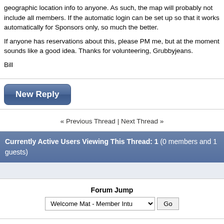geographic location info to anyone. As such, the map will probably not include all members. If the automatic login can be set up so that it works automatically for Sponsors only, so much the better.

If anyone has reservations about this, please PM me, but at the moment sounds like a good idea. Thanks for volunteering, Grubbyjeans.

Bill
New Reply
« Previous Thread | Next Thread »
Currently Active Users Viewing This Thread: 1 (0 members and 1 guests)
Forum Jump
Welcome Mat - Member Intu